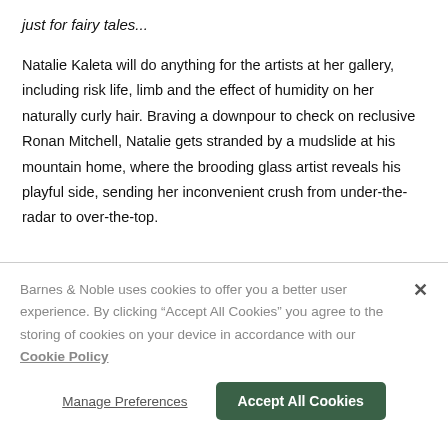just for fairy tales...
Natalie Kaleta will do anything for the artists at her gallery, including risk life, limb and the effect of humidity on her naturally curly hair. Braving a downpour to check on reclusive Ronan Mitchell, Natalie gets stranded by a mudslide at his mountain home, where the brooding glass artist reveals his playful side, sending her inconvenient crush from under-the-radar to over-the-top.
Barnes & Noble uses cookies to offer you a better user experience. By clicking "Accept All Cookies" you agree to the storing of cookies on your device in accordance with our Cookie Policy
Manage Preferences
Accept All Cookies